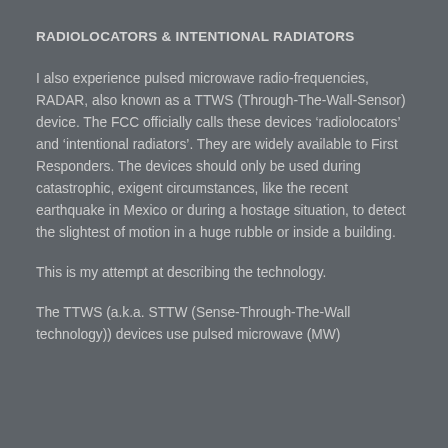RADIOLOCATORS & INTENTIONAL RADIATORS
I also experience pulsed microwave radio-frequencies, RADAR, also known as a TTWS (Through-The-Wall-Sensor) device. The FCC officially calls these devices ‘radiolocators’ and ‘intentional radiators’. They are widely available to First Responders. The devices should only be used during catastrophic, exigent circumstances, like the recent earthquake in Mexico or during a hostage situation, to detect the slightest of motion in a huge rubble or inside a building.
This is my attempt at describing the technology.
The TTWS (a.k.a. STTW (Sense-Through-The-Wall technology)) devices use pulsed microwave (MW)